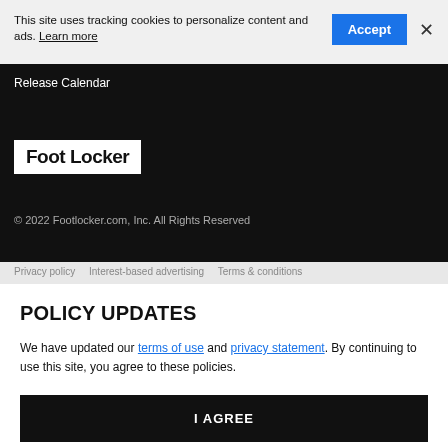This site uses tracking cookies to personalize content and ads. Learn more
Release Calendar
[Figure (logo): Foot Locker logo in white background with bold black text]
© 2022 Footlocker.com, Inc. All Rights Reserved
POLICY UPDATES
We have updated our terms of use and privacy statement. By continuing to use this site, you agree to these policies.
I AGREE